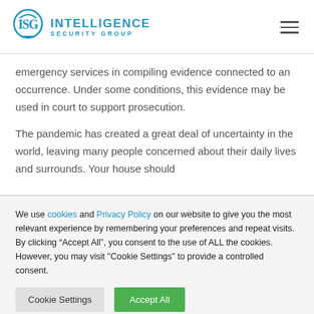Intelligence Security Group
emergency services in compiling evidence connected to an occurrence. Under some conditions, this evidence may be used in court to support prosecution.
The pandemic has created a great deal of uncertainty in the world, leaving many people concerned about their daily lives and surrounds. Your house should
We use cookies and Privacy Policy on our website to give you the most relevant experience by remembering your preferences and repeat visits. By clicking “Accept All”, you consent to the use of ALL the cookies. However, you may visit "Cookie Settings" to provide a controlled consent.
Cookie Settings | Accept All